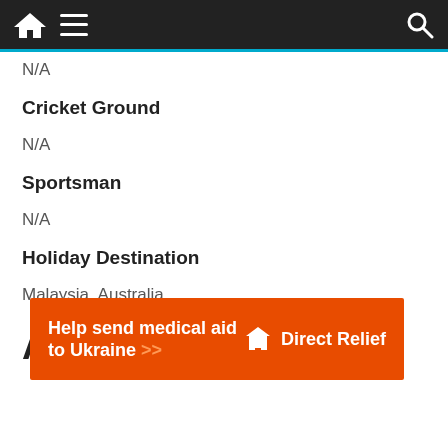Navigation bar with home, menu, and search icons
Cricket Ground
N/A
Sportsman
N/A
Holiday Destination
Malaysia, Australia
Awards and
[Figure (other): Orange advertisement banner: Help send medical aid to Ukraine >> with Direct Relief logo]